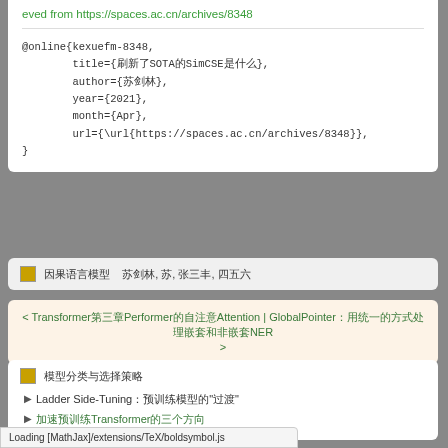eved from https://spaces.ac.cn/archives/8348
@online{kexuefm-8348,
    title={刷新了SOTA的SimCSE是什么},
    author={苏剑林},
    year={2021},
    month={Apr},
    url={\url{https://spaces.ac.cn/archives/8348}},
}
■ 因果语言模型    苏剑林, 苏, 张三丰, 四五六
< Transformer第三章Performer的自注意Attention | GlobalPointer：用统一的方式处理嵌套和非嵌套NER >
■ 模型分类与选择策略
Ladder Side-Tuning：预训练模型的"过渡"
加速预训练Transformer的三个方向
Loading [MathJax]/extensions/TeX/boldsymbol.js